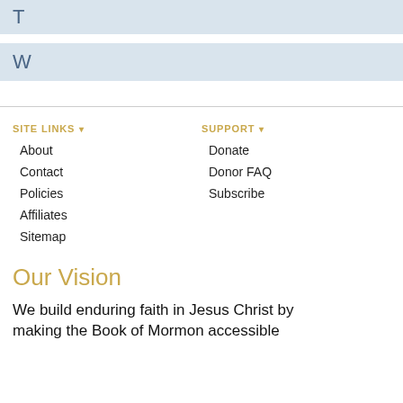T
W
SITE LINKS ▾
About
Contact
Policies
Affiliates
Sitemap
SUPPORT ▾
Donate
Donor FAQ
Subscribe
Our Vision
We build enduring faith in Jesus Christ by making the Book of Mormon accessible